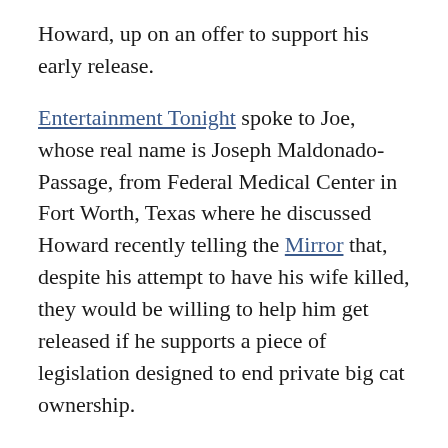Howard, up on an offer to support his early release.
Entertainment Tonight spoke to Joe, whose real name is Joseph Maldonado-Passage, from Federal Medical Center in Fort Worth, Texas where he discussed Howard recently telling the Mirror that, despite his attempt to have his wife killed, they would be willing to help him get released if he supports a piece of legislation designed to end private big cat ownership.
The Big Cat Public Safety Act, which already passed in the House of Representatives, would effectively ban the breeding and ownership of big cats like lions and tigers in the U.S. without a license from the U.S. Department of Agriculture. The ease with which people can own and operate businesses involving big cats was one of the many startling revelations in "Tiger King."